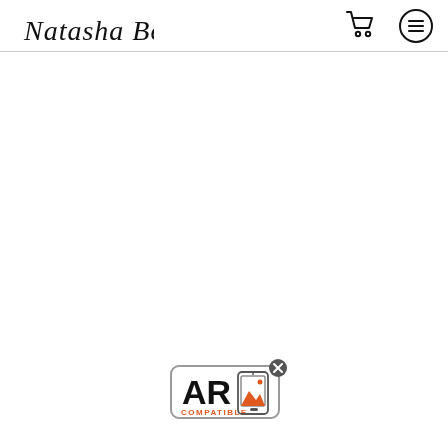Natasha Bogar — navigation header with cart and menu icons
[Figure (logo): Natasha Bogar handwritten script logo]
[Figure (illustration): Shopping cart icon (outline style)]
[Figure (illustration): Hamburger menu icon inside a circle]
[Figure (logo): AR Compatible badge with close button — rectangular badge showing 'AR' in bold black text with 'COMPATIBLE' below, and a smartphone icon with orange mountain graphic on the right, enclosed in a rounded rectangle border. A dark circle with X appears in the upper right corner.]